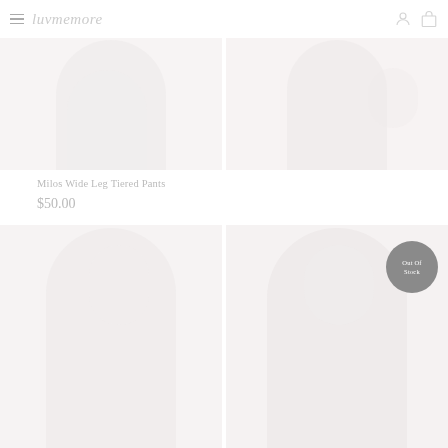luvmemore
[Figure (photo): Two product photos of white wide leg tiered pants, top cropped portion showing model from waist down]
Milos Wide Leg Tiered Pants
$50.00
[Figure (photo): Two product photos of a model wearing a white outfit; right photo has 'Out Of Stock' badge overlay]